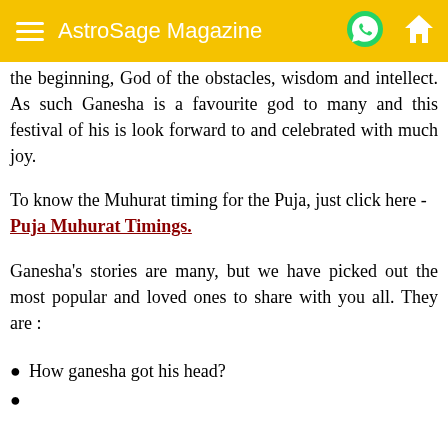AstroSage Magazine
the beginning, God of the obstacles, wisdom and intellect. As such Ganesha is a favourite god to many and this festival of his is look forward to and celebrated with much joy.
To know the Muhurat timing for the Puja, just click here - Puja Muhurat Timings.
Ganesha’s stories are many, but we have picked out the most popular and loved ones to share with you all. They are :
How ganesha got his head?